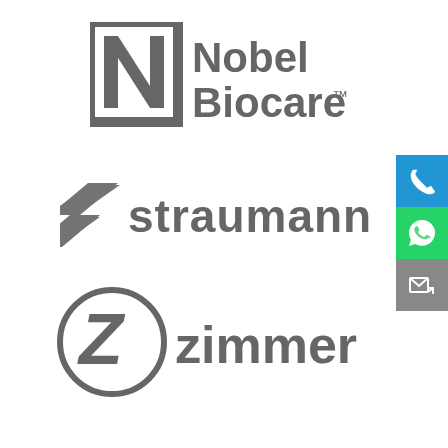[Figure (logo): Nobel Biocare logo in gray, featuring stylized N lettermark and wordmark 'Nobel Biocare™']
[Figure (logo): Straumann logo in gray, featuring diagonal ribbon/helix icon and wordmark 'straumann']
[Figure (logo): Zimmer logo in gray, featuring circular Z lettermark and wordmark 'zimmer']
[Figure (infographic): Sidebar with three icon buttons: blue phone icon, green WhatsApp icon, gray email/contact icon]